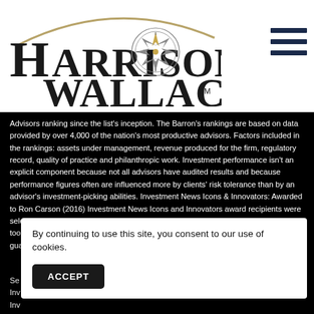[Figure (logo): Harrison Wallace financial advisory firm logo with compass rose emblem and curved arc above the text]
Advisors ranking since the list's inception. The Barron's rankings are based on data provided by over 4,000 of the nation's most productive advisors. Factors included in the rankings: assets under management, revenue produced for the firm, regulatory record, quality of practice and philanthropic work. Investment performance isn't an explicit component because not all advisors have audited results and because performance figures often are influenced more by clients' risk tolerance than by an advisor's investment-picking abilities. Investment News Icons & Innovators: Awarded to Ron Carson (2016) Investment News Icons and Innovators award recipients were selected based on the broad definition of, those who have conceived new ideas and tools that have propelled the industry forward. Listing in this publication is not a guarantee of future investment success. This recognition should not...
By continuing to use this site, you consent to our use of cookies.
ACCEPT